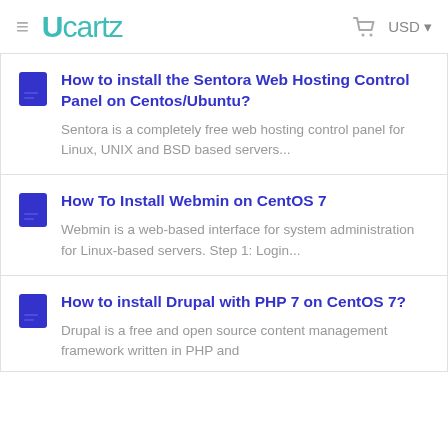Ucartz  USD
How to install the Sentora Web Hosting Control Panel on Centos/Ubuntu?
Sentora is a completely free web hosting control panel for Linux, UNIX and BSD based servers...
How To Install Webmin on CentOS 7
Webmin is a web-based interface for system administration for Linux-based servers. Step 1: Login...
How to install Drupal with PHP 7 on CentOS 7?
Drupal is a free and open source content management framework written in PHP and